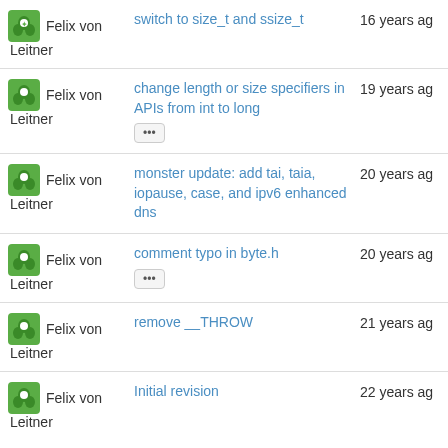Felix von Leitner | switch to size_t and ssize_t | 16 years ago
Felix von Leitner | change length or size specifiers in APIs from int to long | 19 years ago
Felix von Leitner | monster update: add tai, taia, iopause, case, and ipv6 enhanced dns | 20 years ago
Felix von Leitner | comment typo in byte.h | 20 years ago
Felix von Leitner | remove __THROW | 21 years ago
Felix von Leitner | Initial revision | 22 years ago